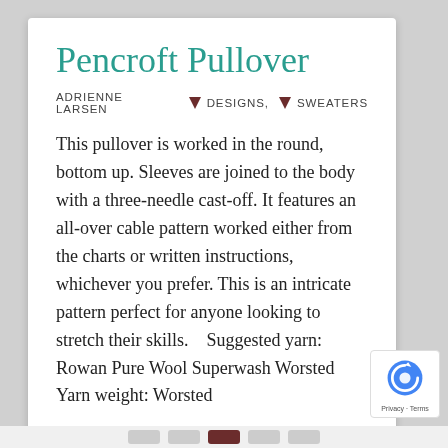Pencroft Pullover
ADRIENNE LARSEN   ▮ DESIGNS, ▮ SWEATERS
This pullover is worked in the round, bottom up. Sleeves are joined to the body with a three-needle cast-off. It features an all-over cable pattern worked either from the charts or written instructions, whichever you prefer. This is an intricate pattern perfect for anyone looking to stretch their skills.   Suggested yarn: Rowan Pure Wool Superwash Worsted Yarn weight: Worsted
...
Read More